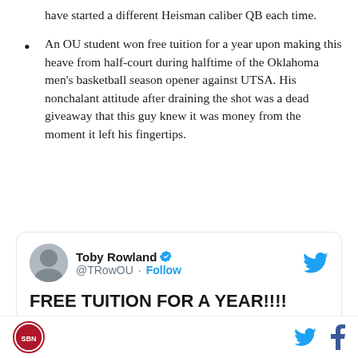have started a different Heisman caliber QB each time.
An OU student won free tuition for a year upon making this heave from half-court during halftime of the Oklahoma men's basketball season opener against UTSA. His nonchalant attitude after draining the shot was a dead giveaway that this guy knew it was money from the moment it left his fingertips.
[Figure (screenshot): Embedded tweet by Toby Rowland (@TRowOU) with a Follow button and Twitter bird icon. Tweet text reads: FREE TUITION FOR A YEAR!!!!]
Footer with site logo on the left and Twitter and Facebook share icons on the right.